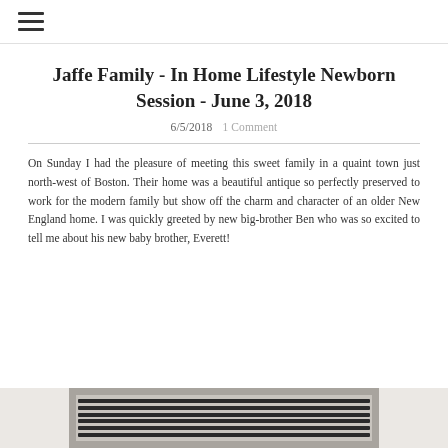☰
Jaffe Family - In Home Lifestyle Newborn Session - June 3, 2018
6/5/2018   1 Comment
On Sunday I had the pleasure of meeting this sweet family in a quaint town just north-west of Boston. Their home was a beautiful antique so perfectly preserved to work for the modern family but show off the charm and character of an older New England home. I was quickly greeted by new big-brother Ben who was so excited to tell me about his new baby brother, Everett!
[Figure (photo): Bottom portion of a photograph showing what appears to be a window or vent with dark horizontal slats, framed in gray/silver, against a light background.]